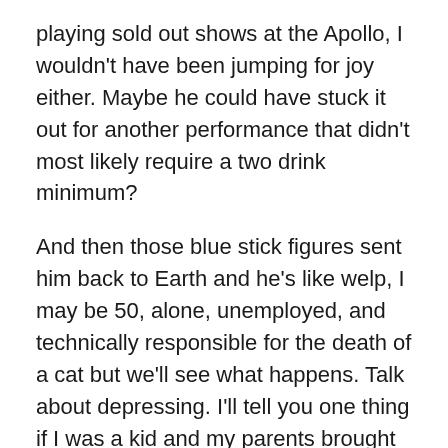playing sold out shows at the Apollo, I wouldn't have been jumping for joy either. Maybe he could have stuck it out for another performance that didn't most likely require a two drink minimum?
And then those blue stick figures sent him back to Earth and he's like welp, I may be 50, alone, unemployed, and technically responsible for the death of a cat but we'll see what happens. Talk about depressing. I'll tell you one thing if I was a kid and my parents brought me to see this movie I would've probably started therapy a looot earlier. Maybe that would've been beneficial actually. And also like, why was everyone Australian?
I continued to drink myself into a stupor while watching AHS Freakshow (my least favorite of the franchise so far if anyone cares. At some point someone needs to sa...